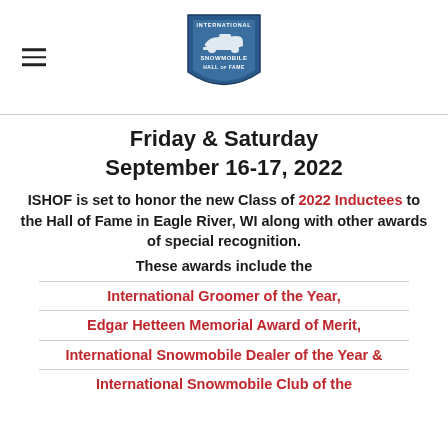[Figure (logo): International Snowmobile Hall of Fame shield logo with snowmobile illustration]
Friday & Saturday September 16-17, 2022
ISHOF is set to honor the new Class of 2022 Inductees to the Hall of Fame in Eagle River, WI along with other awards of special recognition. These awards include the International Groomer of the Year, Edgar Hetteen Memorial Award of Merit, International Snowmobile Dealer of the Year & International Snowmobile Club of the Year